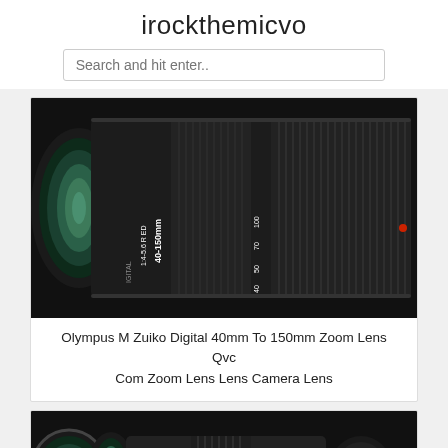irockthemicvo
Search and hit enter..
[Figure (photo): Close-up photo of an Olympus M Zuiko Digital 40-150mm zoom lens showing the barrel with focal length markings (40, 50, 70, 100) and aperture range f/4-5.6 R ED, with green-coated front element visible on the left]
Olympus M Zuiko Digital 40mm To 150mm Zoom Lens Qvc Com Zoom Lens Lens Camera Lens
[Figure (photo): Photo of camera lenses including what appears to be a telephoto zoom lens with green-coated front element and a lens cap, arranged together on a surface]